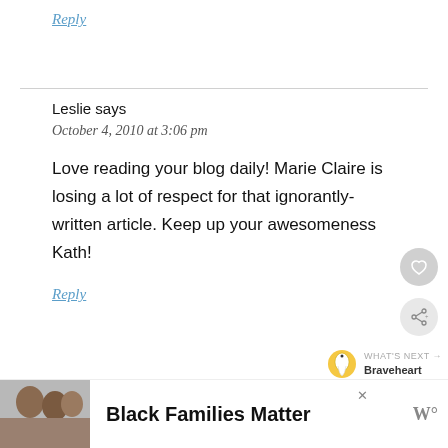Reply
Leslie says
October 4, 2010 at 3:06 pm
Love reading your blog daily! Marie Claire is losing a lot of respect for that ignorantly-written article. Keep up your awesomeness Kath!
Reply
[Figure (other): Advertisement banner showing three smiling people with text 'Black Families Matter' and a logo]
[Figure (other): Heart/like button (circular grey icon with heart outline)]
[Figure (other): Share button (circular grey icon with share symbol)]
[Figure (other): What's Next widget showing a tooth image and text 'Braveheart']